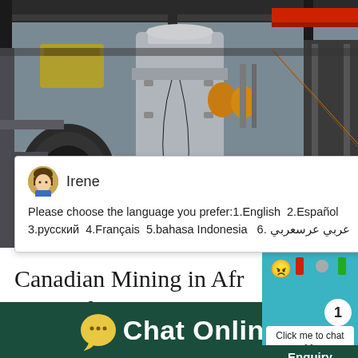[Figure (photo): Industrial mining/crushing equipment in a factory or processing plant, including cylindrical machinery, conveyor structures, and overhead cranes]
Irene
Please choose the language you prefer:1.English  2.Español  3.русский  4.Français  5.bahasa Indonesia   6. عربي عرسعربي
Canadian Mining in Afr...
P Canadian
Click me to chat >>
Enquiry
Chat Online